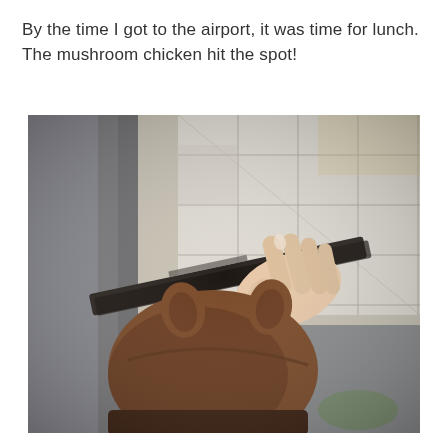By the time I got to the airport, it was time for lunch. The mushroom chicken hit the spot!
[Figure (photo): A photo taken from above showing a person's hand holding what appears to be a dark tray or book over a brown stuffed animal or bag with ear-like protrusions, set against a white/light grey tiled airport floor. Left side shows blurred grey fabric.]